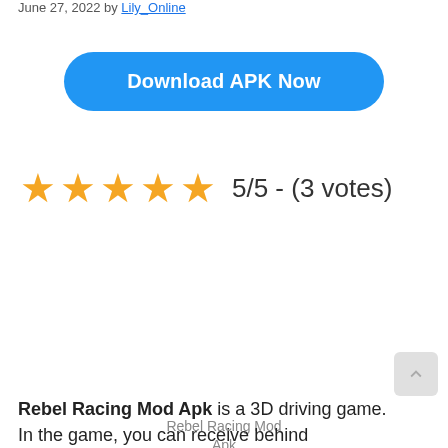June 27, 2022 by Lily_Online
Download APK Now
[Figure (other): 5 gold stars rating with text: 5/5 - (3 votes)]
Rebel Racing Mod Apk
Rebel Racing Mod Apk is a 3D driving game. In the game, you can receive behind